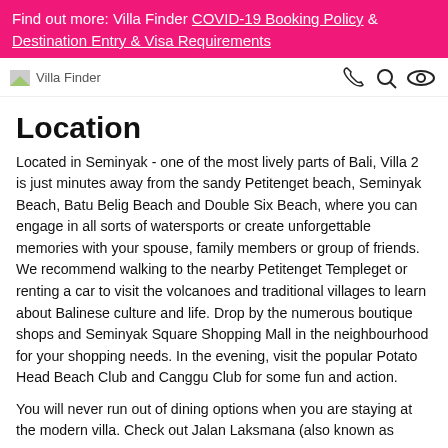Find out more: Villa Finder COVID-19 Booking Policy & Destination Entry & Visa Requirements
[Figure (logo): Villa Finder logo with small image icon and text 'Villa Finder', alongside phone, search, and eye icons on the right]
Location
Located in Seminyak - one of the most lively parts of Bali, Villa 2 is just minutes away from the sandy Petitenget beach, Seminyak Beach, Batu Belig Beach and Double Six Beach, where you can engage in all sorts of watersports or create unforgettable memories with your spouse, family members or group of friends. We recommend walking to the nearby Petitenget Templeget or renting a car to visit the volcanoes and traditional villages to learn about Balinese culture and life. Drop by the numerous boutique shops and Seminyak Square Shopping Mall in the neighbourhood for your shopping needs. In the evening, visit the popular Potato Head Beach Club and Canggu Club for some fun and action.
You will never run out of dining options when you are staying at the modern villa. Check out Jalan Laksmana (also known as